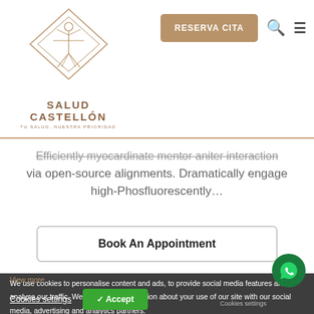[Figure (logo): Salud Castellon logo with Vitruvian man inside diamond shape]
SALUD CASTELLÓN
TU SALUD, NUESTRA PRIORIDAD
RESERVA CITA
Efficiently myocardinate mentor aniter interaction via open-source alignments. Dramatically engage high-Phosfluorescently...
Book An Appointment
We use cookies to personalise content and ads, to provide social media features and to analyse our traffic. We also share information about your use of our site with our social media, advertising and analytics partners.
View more
Cookies settings
✓ Accept
Cookies settings